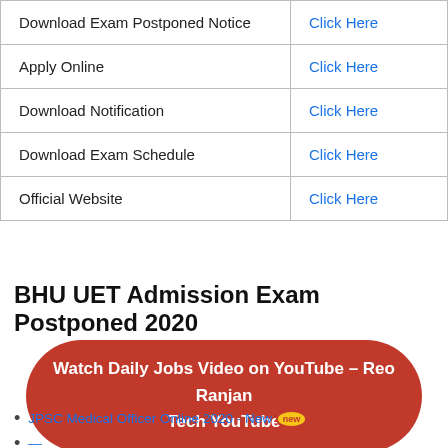| Download Exam Postponed Notice | Click Here |
| Apply Online | Click Here |
| Download Notification | Click Here |
| Download Exam Schedule | Click Here |
| Official Website | Click Here |
BHU UET Admission Exam Postponed 2020
[Figure (infographic): Red rounded button with text: Watch Daily Jobs Video on YouTube – Reo Ranjan Tech YouTube]
[Hindi text link] |
JPSC Medical Officer Online 2020 - New
[partially visible link] - New